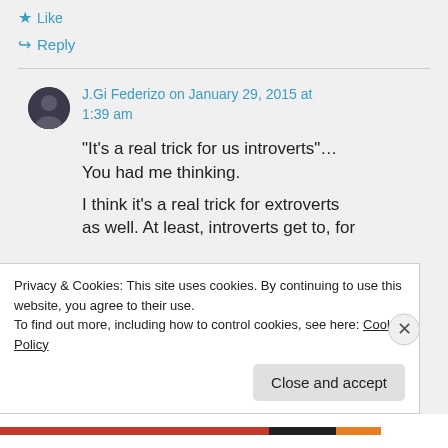★ Like
↪ Reply
J.Gi Federizo on January 29, 2015 at 1:39 am
“It’s a real trick for us introverts”… You had me thinking.
I think it’s a real trick for extroverts as well. At least, introverts get to, for
Privacy & Cookies: This site uses cookies. By continuing to use this website, you agree to their use. To find out more, including how to control cookies, see here: Cookie Policy
Close and accept